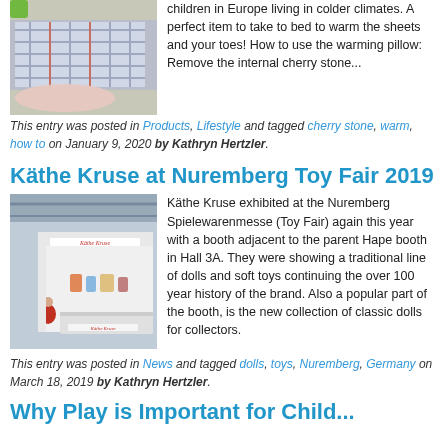[Figure (photo): Photo of a plaid pillow and fluffy blanket on a carpet]
children in Europe living in colder climates. A perfect item to take to bed to warm the sheets and your toes! How to use the warming pillow: Remove the internal cherry stone...
This entry was posted in Products, Lifestyle and tagged cherry stone, warm, how to on January 9, 2020 by Kathryn Hertzler.
Käthe Kruse at Nuremberg Toy Fair 2019
[Figure (photo): Photo of Käthe Kruse booth at Nuremberg Toy Fair with white display counters and brand signage]
Käthe Kruse exhibited at the Nuremberg Spielewarenmesse (Toy Fair) again this year with a booth adjacent to the parent Hape booth in Hall 3A. They were showing a traditional line of dolls and soft toys continuing the over 100 year history of the brand. Also a popular part of the booth, is the new collection of classic dolls for collectors.
This entry was posted in News and tagged dolls, toys, Nuremberg, Germany on March 18, 2019 by Kathryn Hertzler.
Why Play is Important for Child...